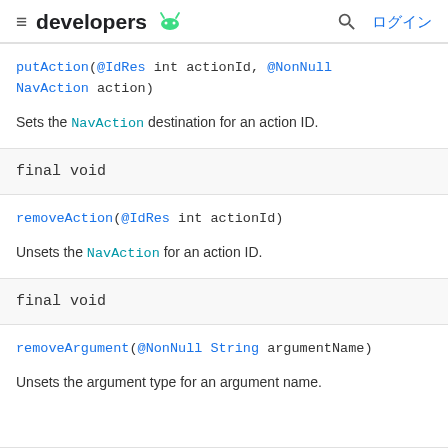developers [android icon] | ログイン
putAction(@IdRes int actionId, @NonNull NavAction action)
Sets the NavAction destination for an action ID.
final void
removeAction(@IdRes int actionId)
Unsets the NavAction for an action ID.
final void
removeArgument(@NonNull String argumentName)
Unsets the argument type for an argument name.